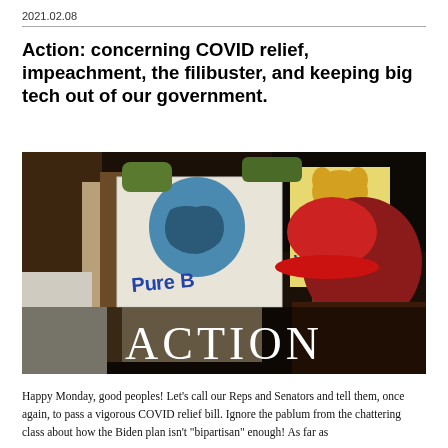2021.02.08
Action: concerning COVID relief, impeachment, the filibuster, and keeping big tech out of our government.
[Figure (photo): Stylized/posterized photo of protesters holding signs reading 'Pure B' and 'WATER', with a person wearing a red hat in the foreground. Large white text 'ACTION' overlaid at bottom center.]
Happy Monday, good peoples! Let's call our Reps and Senators and tell them, once again, to pass a vigorous COVID relief bill. Ignore the pablum from the chattering class about how the Biden plan isn't "bipartisan" enough! As far as